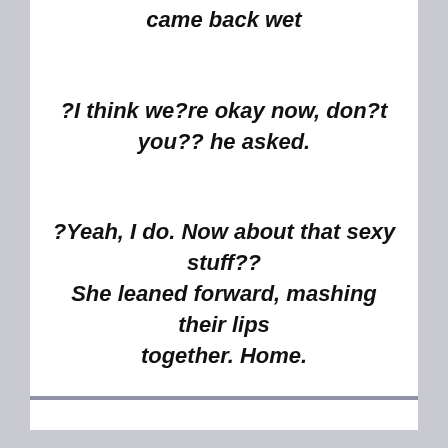came back wet
?I think we?re okay now, don?t you?? he asked.
?Yeah, I do. Now about that sexy stuff?? She leaned forward, mashing their lips together. Home.